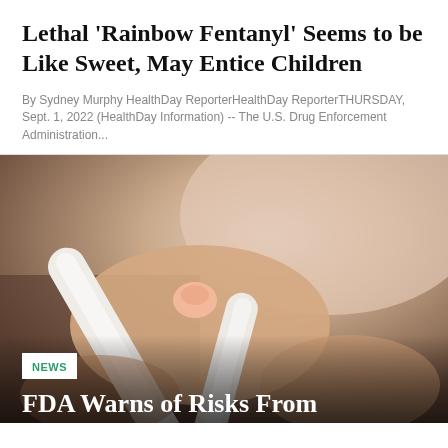Lethal 'Rainbow Fentanyl' Seems to be Like Sweet, May Entice Children
By Sydney Murphy HealthDay ReporterHealthDay ReporterTHURSDAY, Sept. 1, 2022 (HealthDay Information) -- The U.S. Drug Enforcement Administration...
[Figure (photo): Close-up photo of hands, one holding a medical or writing instrument, skin-tone background with soft lighting]
NEWS
FDA Warns of Risks From